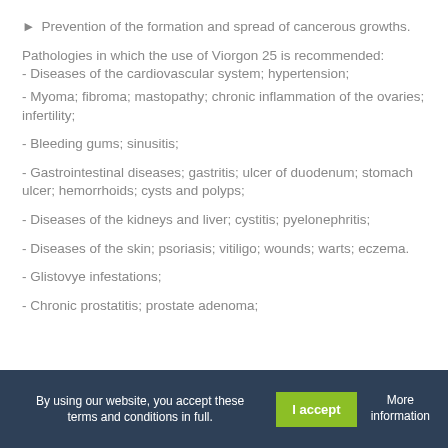► Prevention of the formation and spread of cancerous growths.
Pathologies in which the use of Viorgon 25 is recommended:
- Diseases of the cardiovascular system; hypertension;
- Myoma; fibroma; mastopathy; chronic inflammation of the ovaries; infertility;
- Bleeding gums; sinusitis;
- Gastrointestinal diseases; gastritis; ulcer of duodenum; stomach ulcer; hemorrhoids; cysts and polyps;
- Diseases of the kidneys and liver; cystitis; pyelonephritis;
- Diseases of the skin; psoriasis; vitiligo; wounds; warts; eczema.
- Glistovye infestations;
- Chronic prostatitis; prostate adenoma;
By using our website, you accept these terms and conditions in full.